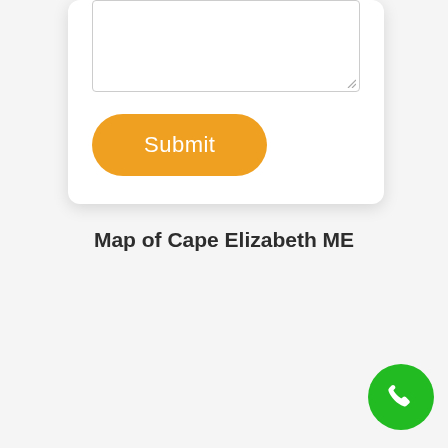[Figure (screenshot): A white card with a textarea input box and an orange rounded Submit button]
Map of Cape Elizabeth ME
[Figure (other): Green circular phone/call button in the bottom right corner]